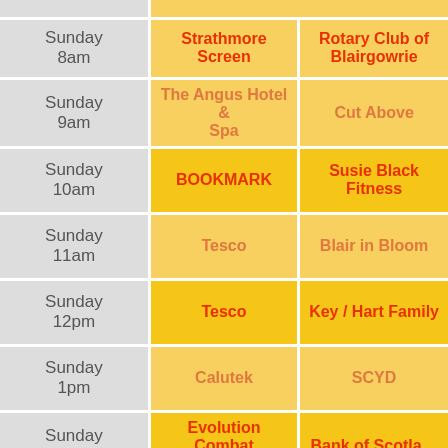| Time | Sponsor | Charity |
| --- | --- | --- |
| Sunday 8am | Strathmore Screen | Rotary Club of Blairgowrie |
| Sunday 9am | The Angus Hotel & Spa | Cut Above |
| Sunday 10am | BOOKMARK | Susie Black Fitness |
| Sunday 11am | Tesco | Blair in Bloom |
| Sunday 12pm | Tesco | Key / Hart Family |
| Sunday 1pm | Calutek | SCYD |
| Sunday 2pm | Evolution Combat Sports | Bank of Scotland |
| Sunday... |  | Royal Air Force... |